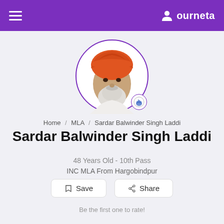ourneta
[Figure (photo): Profile photo of Sardar Balwinder Singh Laddi — an elderly Sikh man with an orange turban and white beard, shown in a circular frame with a Congress party badge.]
Home / MLA / Sardar Balwinder Singh Laddi
Sardar Balwinder Singh Laddi
48 Years Old - 10th Pass
INC MLA From Hargobindpur
Save
Share
Be the first one to rate!